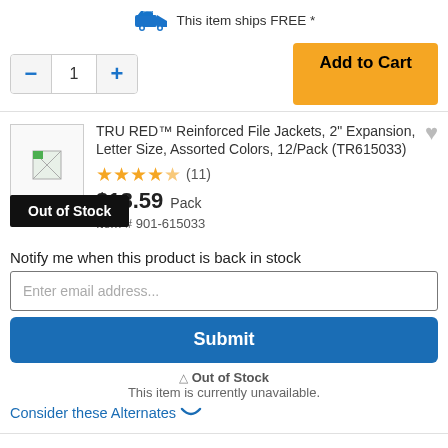This item ships FREE *
1
Add to Cart
TRU RED™ Reinforced File Jackets, 2" Expansion, Letter Size, Assorted Colors, 12/Pack (TR615033)
★★★★☆ (11)
$18.59 Pack
Item # 901-615033
Out of Stock
Notify me when this product is back in stock
Enter email address...
Submit
⚠ Out of Stock
This item is currently unavailable.
Consider these Alternates ⌄